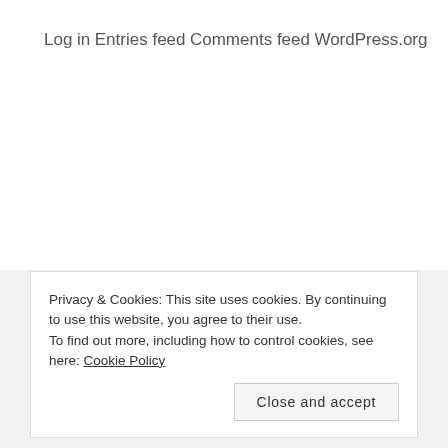Log in
Entries feed
Comments feed
WordPress.org
Privacy & Cookies: This site uses cookies. By continuing to use this website, you agree to their use.
To find out more, including how to control cookies, see here: Cookie Policy
Close and accept